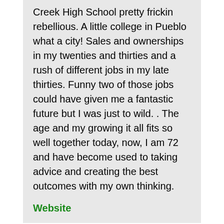Creek High School pretty frickin rebellious. A little college in Pueblo what a city! Sales and ownerships in my twenties and thirties and a rush of different jobs in my late thirties. Funny two of those jobs could have given me a fantastic future but I was just to wild. . The age and my growing it all fits so well together today, now, I am 72 and have become used to taking advice and creating the best outcomes with my own thinking.
Website